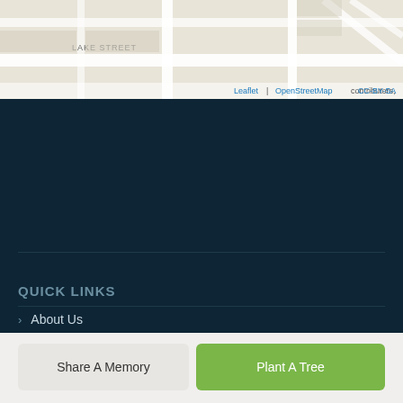[Figure (map): Street map showing Lake Street and surrounding area with Leaflet/OpenStreetMap]
QUICK LINKS
About Us
Funeral Planning
Advance Planning
Share A Memory
Plant A Tree